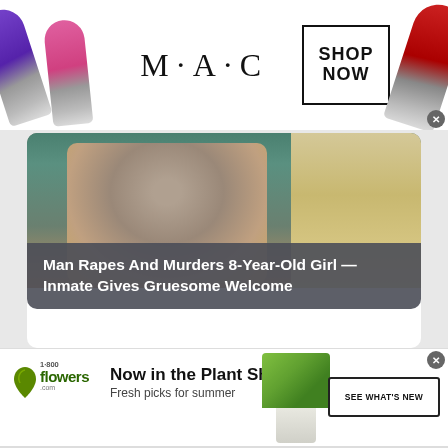[Figure (photo): MAC cosmetics advertisement banner with lipsticks and SHOP NOW button]
[Figure (photo): News article card showing mugshot photo of older man with headline overlay]
Man Rapes And Murders 8-Year-Old Girl — Inmate Gives Gruesome Welcome
[Figure (photo): News article card showing mugshot photo of young woman and partial face of another person]
[Figure (photo): 1-800-Flowers advertisement: Now in the Plant Shop - Fresh picks for summer - SEE WHAT'S NEW]